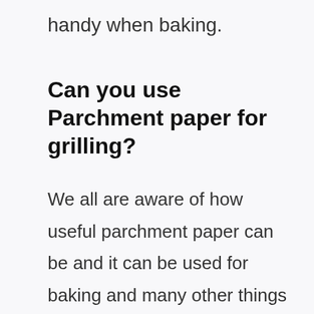handy when baking.
Can you use Parchment paper for grilling?
We all are aware of how useful parchment paper can be and it can be used for baking and many other things but have you ever questioned yourself that can we use parchment paper on a grill? Let's find out.